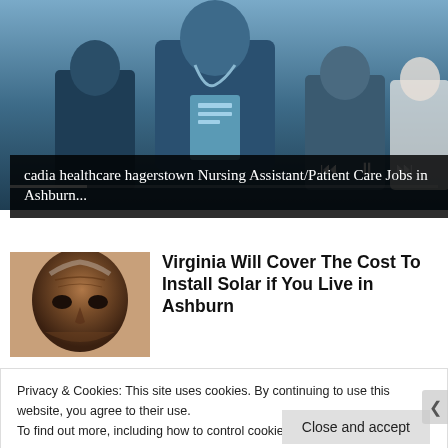[Figure (screenshot): Video player showing healthcare workers in scrubs, with playback controls and progress bar overlay]
cadia healthcare hagerstown Nursing Assistant/Patient Care Jobs in Ashburn...
[Figure (photo): Close-up photo of an older Black man's face]
Virginia Will Cover The Cost To Install Solar if You Live in Ashburn
Privacy & Cookies: This site uses cookies. By continuing to use this website, you agree to their use.
To find out more, including how to control cookies, see here: Cookie Policy
Close and accept